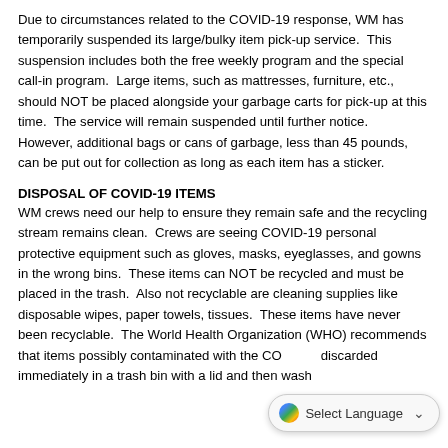Due to circumstances related to the COVID-19 response, WM has temporarily suspended its large/bulky item pick-up service.  This suspension includes both the free weekly program and the special call-in program.  Large items, such as mattresses, furniture, etc., should NOT be placed alongside your garbage carts for pick-up at this time.  The service will remain suspended until further notice.  However, additional bags or cans of garbage, less than 45 pounds, can be put out for collection as long as each item has a sticker.
DISPOSAL OF COVID-19 ITEMS
WM crews need our help to ensure they remain safe and the recycling stream remains clean.  Crews are seeing COVID-19 personal protective equipment such as gloves, masks, eyeglasses, and gowns in the wrong bins.  These items can NOT be recycled and must be placed in the trash.  Also not recyclable are cleaning supplies like disposable wipes, paper towels, tissues.  These items have never been recyclable.  The World Health Organization (WHO) recommends that items possibly contaminated with the CO... discarded immediately in a trash bin with a lid and then wash